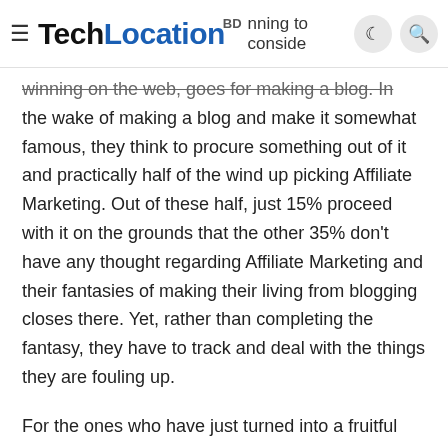TechLocationBD — [hamburger menu icon] [partial text: '...nning to consider'] [moon icon] [search icon]
winning on the web, goes for making a blog. In the wake of making a blog and make it somewhat famous, they think to procure something out of it and practically half of the wind up picking Affiliate Marketing. Out of these half, just 15% proceed with it on the grounds that the other 35% don't have any thought regarding Affiliate Marketing and their fantasies of making their living from blogging closes there. Yet, rather than completing the fantasy, they have to track and deal with the things they are fouling up.
For the ones who have just turned into a fruitful associate advertiser, Affiliate marketing